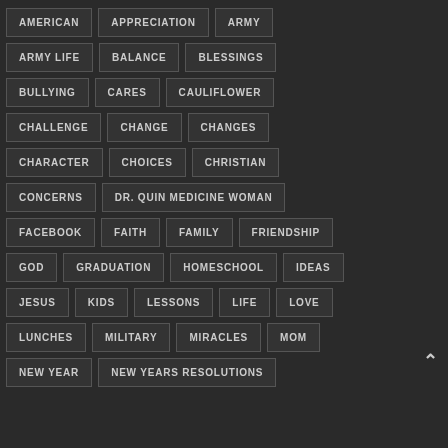AMERICAN
APPRECIATION
ARMY
ARMY LIFE
BALANCE
BLESSINGS
BULLYING
CARES
CAULIFLOWER
CHALLENGE
CHANGE
CHANGES
CHARACTER
CHOICES
CHRISTIAN
CONCERNS
DR. QUIN MEDICINE WOMAN
FACEBOOK
FAITH
FAMILY
FRIENDSHIP
GOD
GRADUATION
HOMESCHOOL
IDEAS
JESUS
KIDS
LESSONS
LIFE
LOVE
LUNCHES
MILITARY
MIRACLES
MOM
NEW YEAR
NEW YEARS RESOLUTIONS